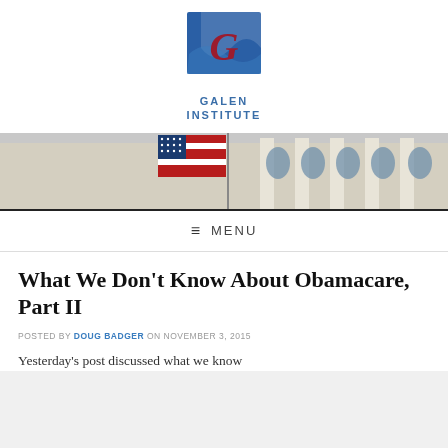[Figure (logo): Galen Institute logo: blue square with red G letter and wave, with text GALEN INSTITUTE below in blue]
[Figure (photo): American flag flying in front of a neoclassical government building (Capitol or similar), wide banner crop]
≡ MENU
What We Don't Know About Obamacare, Part II
POSTED BY DOUG BADGER ON NOVEMBER 3, 2015
Yesterday's post discussed what we know